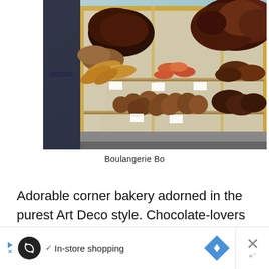[Figure (photo): Interior of a bakery display case showing various baked goods including croissants, muffins, rolls and large loaves of bread on multiple shelves with glass panels. A person in dark clothing is partially visible on the left side.]
Boulangerie Bo
Adorable corner bakery adorned in the purest Art Deco style. Chocolate-lovers will travel great lengths to get their hands on the dense ganache pie. Tip: try and get a croissant to go
[Figure (other): Advertisement banner: loop/infinity icon in black circle, checkmark with 'In-store shopping' text, blue diamond navigation icon, and close X button on right side]